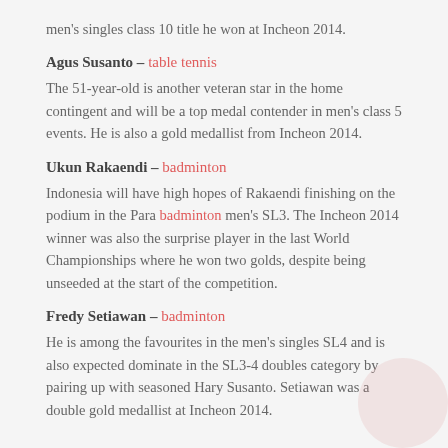men's singles class 10 title he won at Incheon 2014.
Agus Susanto – table tennis
The 51-year-old is another veteran star in the home contingent and will be a top medal contender in men's class 5 events. He is also a gold medallist from Incheon 2014.
Ukun Rakaendi – badminton
Indonesia will have high hopes of Rakaendi finishing on the podium in the Para badminton men's SL3. The Incheon 2014 winner was also the surprise player in the last World Championships where he won two golds, despite being unseeded at the start of the competition.
Fredy Setiawan – badminton
He is among the favourites in the men's singles SL4 and is also expected dominate in the SL3-4 doubles category by pairing up with seasoned Hary Susanto. Setiawan was a double gold medallist at Incheon 2014.